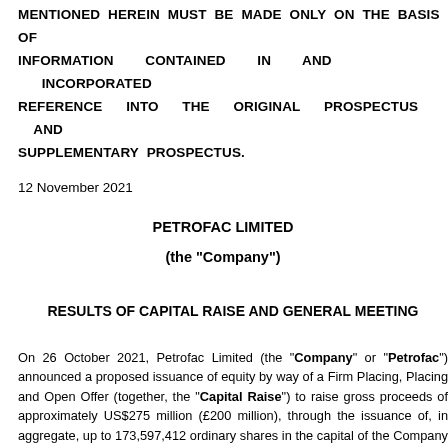MENTIONED HEREIN MUST BE MADE ONLY ON THE BASIS OF INFORMATION CONTAINED IN AND INCORPORATED BY REFERENCE INTO THE ORIGINAL PROSPECTUS AND SUPPLEMENTARY PROSPECTUS.
12 November 2021
PETROFAC LIMITED
(the "Company")
RESULTS OF CAPITAL RAISE AND GENERAL MEETING
On 26 October 2021, Petrofac Limited (the "Company" or "Petrofac") announced a proposed issuance of equity by way of a Firm Placing, Placing and Open Offer (together, the "Capital Raise") to raise gross proceeds of approximately US$275 million (£200 million), through the issuance of, in aggregate, up to 173,597,412 ordinary shares in the capital of the Company (the "New Shares"), comprising a Firm Placing